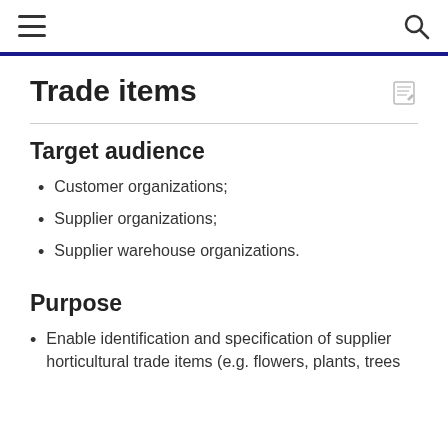≡  🔍
Trade items
Target audience
Customer organizations;
Supplier organizations;
Supplier warehouse organizations.
Purpose
Enable identification and specification of supplier horticultural trade items (e.g. flowers, plants, trees